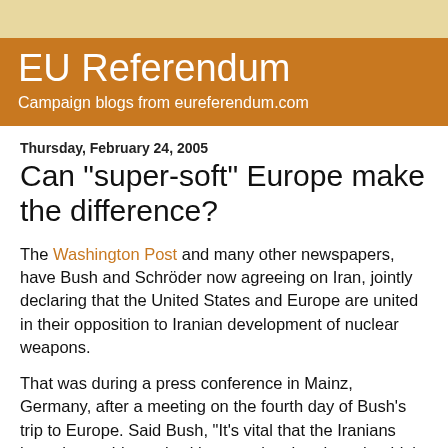EU Referendum
Campaign blogs from eureferendum.com
Thursday, February 24, 2005
Can "super-soft" Europe make the difference?
The Washington Post and many other newspapers, have Bush and Schröder now agreeing on Iran, jointly declaring that the United States and Europe are united in their opposition to Iranian development of nuclear weapons.
That was during a press conference in Mainz, Germany, after a meeting on the fourth day of Bush's trip to Europe. Said Bush, "It's vital that the Iranians hear the world speak with one voice that they shouldn't have a nuclear weapon."
However, from Tehran, that world looks very different. There